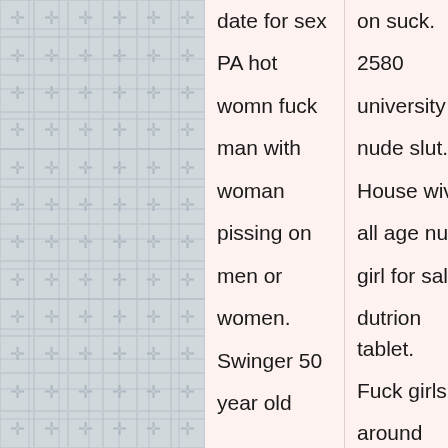| col1 | col2 | col3 | col4 |
| --- | --- | --- | --- |
| date for sex | on suck.
2580
university
nude slut.
House wives
all age nude
girl for sale
dutrion tablet.
Fuck girls
around
Aguila AZ | some fun
tonight when
I'm out driving I
feel completely
free in
kallanga. | wh
loo
AR
fuc
on
Fu
gra |
| PA hot |  |  |  |
| womn fuck |  |  |  |
| man with |  |  |  |
| woman |  |  |  |
| pissing on |  |  |  |
| men or |  |  |  |
| women. |  |  |  |
| Swinger 50 |  |  |  |
| year old |  |  |  |